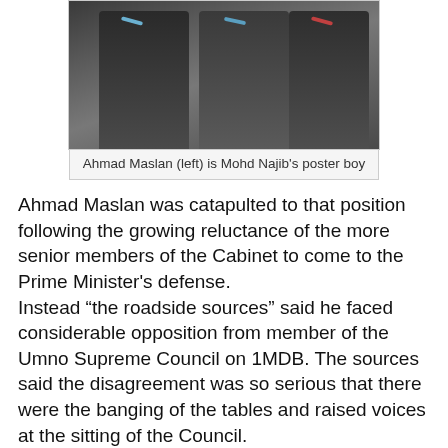[Figure (photo): Two men in dark suits, one with a blue tie and one with a red tie, posing together in a formal setting]
Ahmad Maslan (left) is Mohd Najib's poster boy
Ahmad Maslan was catapulted to that position following the growing reluctance of the more senior members of the Cabinet to come to the Prime Minister's defense.
Instead “the roadside sources” said he faced considerable opposition from member of the Umno Supreme Council on 1MDB. The sources said the disagreement was so serious that there were the banging of the tables and raised voices at the sitting of the Council.
Despite Mohd Najib telling the press that the Council supported him, sources said some members told him point blank that 1MDB could kill Umno.